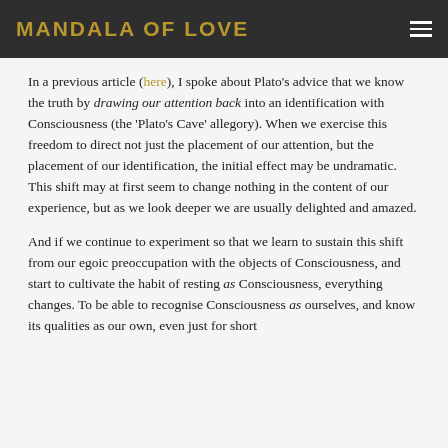MANDALA OF LOVE
In a previous article (here), I spoke about Plato's advice that we know the truth by drawing our attention back into an identification with Consciousness (the 'Plato's Cave' allegory). When we exercise this freedom to direct not just the placement of our attention, but the placement of our identification, the initial effect may be undramatic. This shift may at first seem to change nothing in the content of our experience, but as we look deeper we are usually delighted and amazed.
And if we continue to experiment so that we learn to sustain this shift from our egoic preoccupation with the objects of Consciousness, and start to cultivate the habit of resting as Consciousness, everything changes. To be able to recognise Consciousness as ourselves, and know its qualities as our own, even just for short